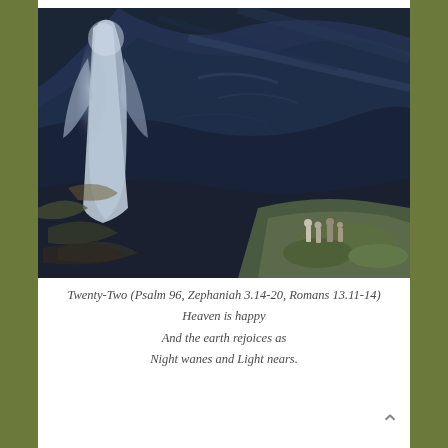[Figure (illustration): A dark, dramatic painting depicting a large glowing angelic or divine figure on the left side amid swirling dark blue and deep tones of mountains or rocky terrain. Small human figures appear in the lower right corner among lighter rocky ground with greenish patches. The style is expressionist with heavy brushwork and dark blues, greens, and ochre tones.]
Twenty-Two (Psalm 96, Zephaniah 3.14-20, Romans 13.11-14)
Heaven is happy
And the earth rejoices as
Night wanes and Light nears.